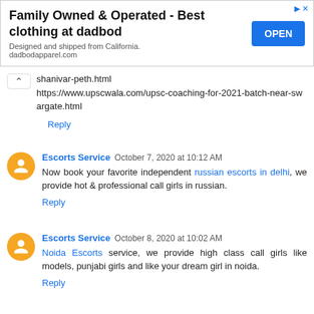[Figure (screenshot): Advertisement banner for dadbod apparel with 'OPEN' button]
shanivar-peth.html https://www.upscwala.com/upsc-coaching-for-2021-batch-near-swargate.html
Reply
Escorts Service   October 7, 2020 at 10:12 AM
Now book your favorite independent russian escorts in delhi, we provide hot & professional call girls in russian.
Reply
Escorts Service   October 8, 2020 at 10:02 AM
Noida Escorts service, we provide high class call girls like models, punjabi girls and like your dream girl in noida.
Reply